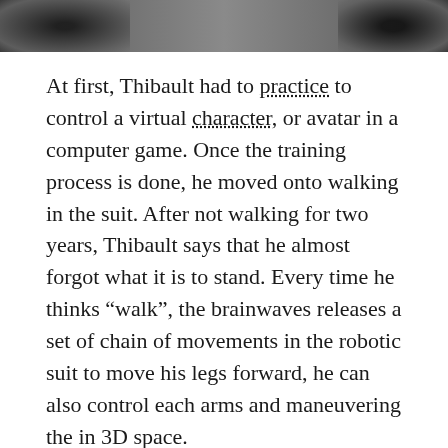[Figure (photo): Top portion of a photograph showing robotic suit or exoskeleton equipment, partially cropped]
At first, Thibault had to practice to control a virtual character, or avatar in a computer game. Once the training process is done, he moved onto walking in the suit. After not walking for two years, Thibault says that he almost forgot what it is to stand. Every time he thinks “walk”, the brainwaves releases a set of chain of movements in the robotic suit to move his legs forward, he can also control each arms and maneuvering the in 3D space.
The robotic suit weights around 65kg and is still at prototype stage, even so, it marks advance on similar approaches that allow people to control a single limb with their thoughts. This suit is still not ready to move outside laboratory since the user needs to be